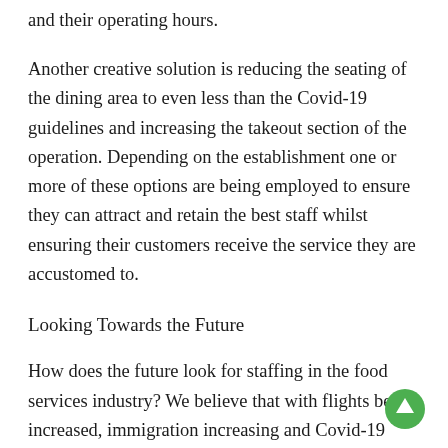and their operating hours.
Another creative solution is reducing the seating of the dining area to even less than the Covid-19 guidelines and increasing the takeout section of the operation. Depending on the establishment one or more of these options are being employed to ensure they can attract and retain the best staff whilst ensuring their customers receive the service they are accustomed to.
Looking Towards the Future
How does the future look for staffing in the food services industry? We believe that with flights being increased, immigration increasing and Covid-19 numbers decreasing the tide will start to change. The industry may never regain those